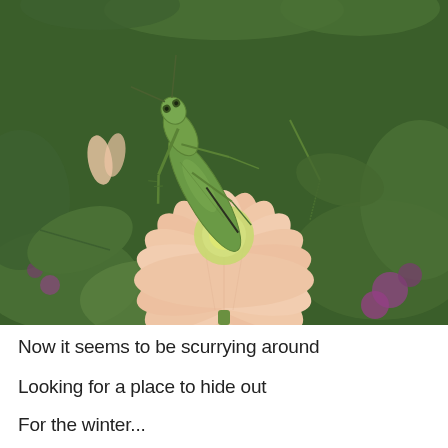[Figure (photo): Close-up photograph of a green praying mantis perched on a peach/salmon colored dahlia flower, with green foliage and purple flowers visible in the background.]
Now it seems to be scurrying around
Looking for a place to hide out
For the winter...